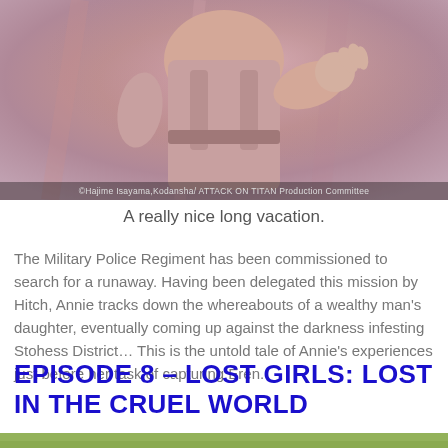[Figure (illustration): Anime illustration of a character in a military-style uniform on a pinkish-red background, with copyright text at the bottom reading: ©Hajime Isayama,Kodansha/ ATTACK ON TITAN Production Committee]
A really nice long vacation.
The Military Police Regiment has been commissioned to search for a runaway. Having been delegated this mission by Hitch, Annie tracks down the whereabouts of a wealthy man's daughter, eventually coming up against the darkness infesting Stohess District... This is the untold tale of Annie's experiences just before her task of capturing Eren.
EPISODE 8 – LOST GIRLS: LOST IN THE CRUEL WORLD
[Figure (illustration): Partial anime illustration with green/grassy background, cut off at bottom of page]